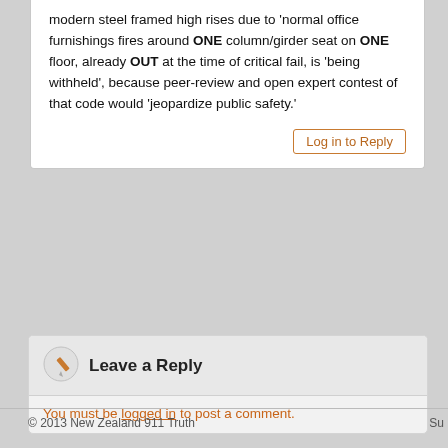modern steel framed high rises due to ‘normal office furnishings fires around ONE column/girder seat on ONE floor, already OUT at the time of critical fail, is ‘being withheld’, because peer-review and open expert contest of that code would ‘jeopardize public safety.’
Log in to Reply
Leave a Reply
You must be logged in to post a comment.
Dr. Jill Stein Twitter – ‘If Saudi Arabia funded 9/11 and ISIS too, why does Obama protect them, Clinton arm them, & Podesta lobby for them?’
Former NIST Employee Speaks Out with LTE in Europhysics News
© 2013 New Zealand 911 Truth